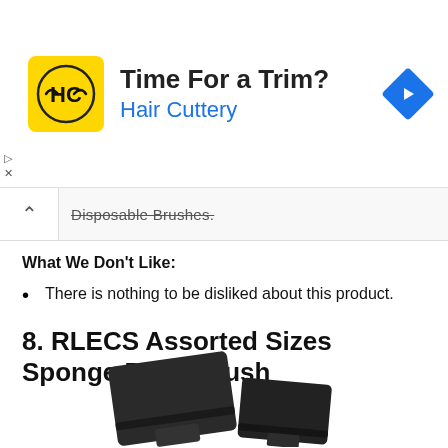[Figure (screenshot): Hair Cuttery advertisement banner with yellow square logo showing HC letters, text 'Time For a Trim?' and 'Hair Cuttery' in blue, and a blue navigation diamond icon on the right]
Disposable Brushes.
What We Don't Like:
There is nothing to be disliked about this product.
8. RLECS Assorted Sizes Sponge Paint Brush
[Figure (photo): Dark/black sponge paint brushes on white background]